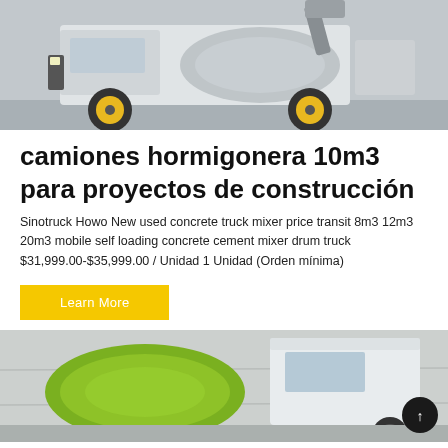[Figure (photo): Self-loading concrete mixer truck, white and black, with yellow/orange wheels, viewed from the side/front on a paved surface.]
camiones hormigonera 10m3 para proyectos de construcción
Sinotruck Howo New used concrete truck mixer price transit 8m3 12m3 20m3 mobile self loading concrete cement mixer drum truck $31,999.00-$35,999.00 / Unidad 1 Unidad (Orden mínima)
Learn More
[Figure (photo): Green concrete mixer drum truck viewed from the side, in front of a concrete wall background, with white cab visible.]